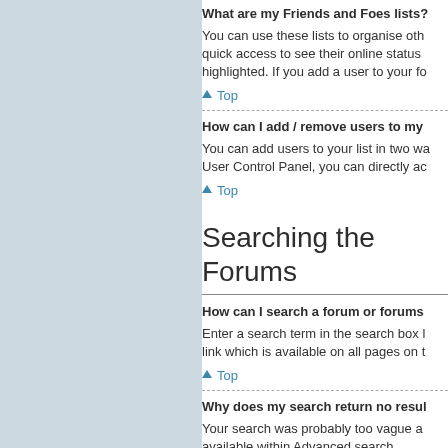What are my Friends and Foes lists?
You can use these lists to organise oth quick access to see their online status highlighted. If you add a user to your fo
Top
How can I add / remove users to my
You can add users to your list in two wa User Control Panel, you can directly ac
Top
Searching the Forums
How can I search a forum or forums
Enter a search term in the search box l link which is available on all pages on t
Top
Why does my search return no resul
Your search was probably too vague a available within Advanced search.
Top